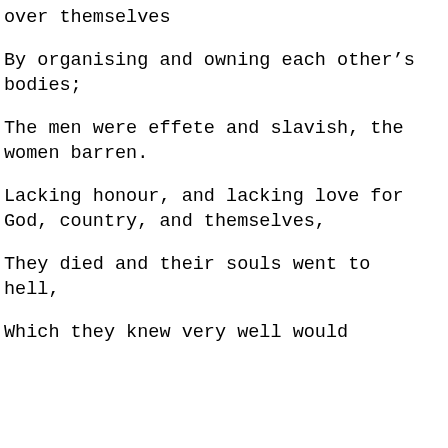over themselves
By organising and owning each other's bodies;
The men were effete and slavish, the women barren.
Lacking honour, and lacking love for God, country, and themselves,
They died and their souls went to hell,
Which they knew very well would